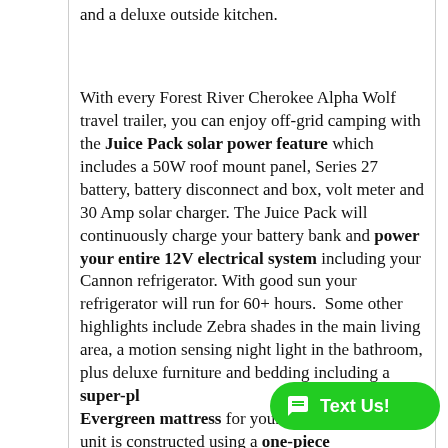and a deluxe outside kitchen.
With every Forest River Cherokee Alpha Wolf travel trailer, you can enjoy off-grid camping with the Juice Pack solar power feature which includes a 50W roof mount panel, Series 27 battery, battery disconnect and box, volt meter and 30 Amp solar charger. The Juice Pack will continuously charge your battery bank and power your entire 12V electrical system including your Cannon refrigerator. With good sun your refrigerator will run for 60+ hours. Some other highlights include Zebra shades in the main living area, a motion sensing night light in the bathroom, plus deluxe furniture and bedding including a super-plush Evergreen mattress for your comfort. This unit is constructed using a one-piece